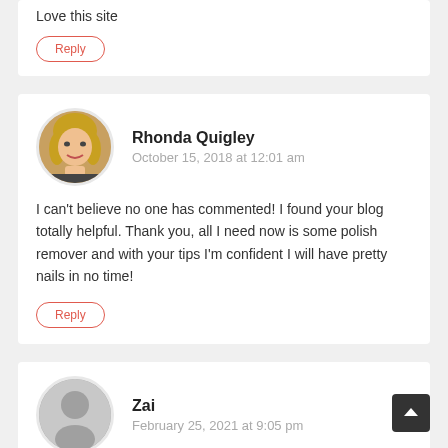Love this site
Reply
Rhonda Quigley
October 15, 2018 at 12:01 am
I can't believe no one has commented! I found your blog totally helpful. Thank you, all I need now is some polish remover and with your tips I'm confident I will have pretty nails in no time!
Reply
Zai
February 25, 2021 at 9:05 pm